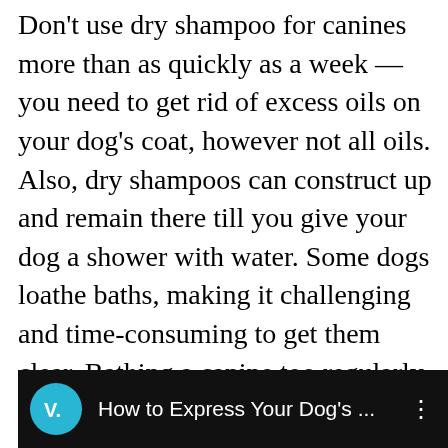Don't use dry shampoo for canines more than as quickly as a week — you need to get rid of excess oils on your dog's coat, however not all oils. Also, dry shampoos can construct up and remain there till you give your dog a shower with water. Some dogs loathe baths, making it challenging and time-consuming to get them clear. Bathing a canine too regularly can remove useful oils from the skin and coat, causing dryness and irritation and decreasing defenses in opposition to micro organism.
[Figure (screenshot): Video thumbnail bar showing a video player interface with a teal circular logo marked 'V.' on a black background, with the title 'How to Express Your Dog's ...' and a three-dot menu icon.]